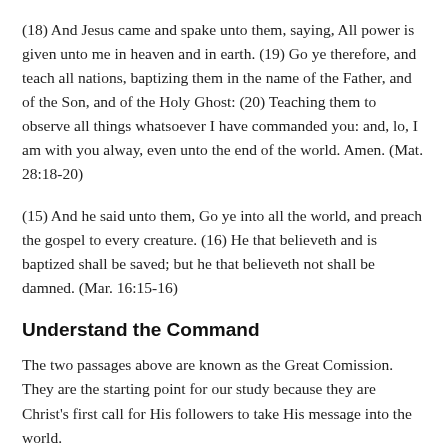(18) And Jesus came and spake unto them, saying, All power is given unto me in heaven and in earth. (19) Go ye therefore, and teach all nations, baptizing them in the name of the Father, and of the Son, and of the Holy Ghost: (20) Teaching them to observe all things whatsoever I have commanded you: and, lo, I am with you alway, even unto the end of the world. Amen. (Mat. 28:18-20)
(15) And he said unto them, Go ye into all the world, and preach the gospel to every creature. (16) He that believeth and is baptized shall be saved; but he that believeth not shall be damned. (Mar. 16:15-16)
Understand the Command
The two passages above are known as the Great Comission. They are the starting point for our study because they are Christ's first call for His followers to take His message into the world.